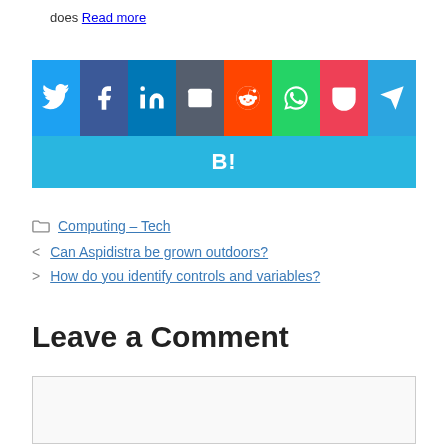does Read more
[Figure (other): Row of social share buttons: Twitter (blue), Facebook (dark blue), LinkedIn (blue), Email (gray), Reddit (orange), WhatsApp (green), Pocket (pink/red), Telegram (light blue), and a full-width Hatena Bookmark (B!) button in cyan blue]
Computing – Tech
< Can Aspidistra be grown outdoors?
> How do you identify controls and variables?
Leave a Comment